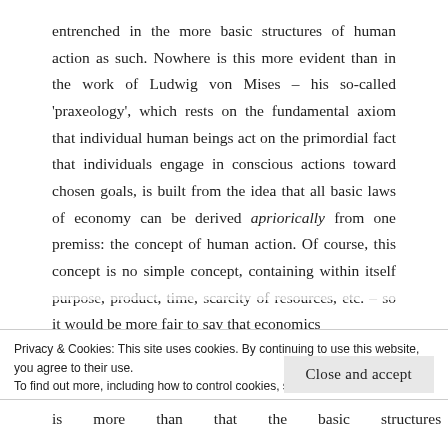entrenched in the more basic structures of human action as such. Nowhere is this more evident than in the work of Ludwig von Mises – his so-called 'praxeology', which rests on the fundamental axiom that individual human beings act on the primordial fact that individuals engage in conscious actions toward chosen goals, is built from the idea that all basic laws of economy can be derived apriorically from one premiss: the concept of human action. Of course, this concept is no simple concept, containing within itself purpose, product, time, scarcity of resources, etc. – so it would be more fair to say that economics
Privacy & Cookies: This site uses cookies. By continuing to use this website, you agree to their use.
To find out more, including how to control cookies, see here: Cookie Policy
Close and accept
is more than just the concept of human action in...